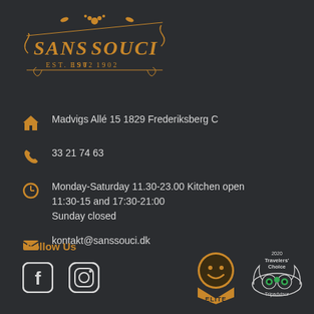[Figure (logo): Sans Souci EST. 1902 vintage logo in gold/orange on dark background]
Madvigs Allé 15 1829 Frederiksberg C
33 21 74 63
Monday-Saturday 11.30-23.00 Kitchen open
11:30-15 and 17:30-21:00
Sunday closed
kontakt@sanssouci.dk
Follow Us
[Figure (logo): Facebook and Instagram social media icons]
[Figure (logo): Elite badge (smiley face) and Tripadvisor Travelers' Choice 2020 badge]